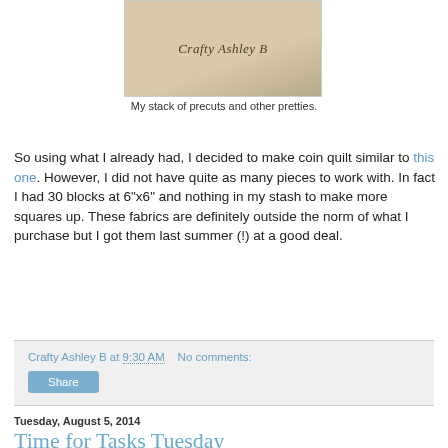[Figure (photo): Photo of fabric precuts with cursive text 'Crafty Ashley B' overlaid]
My stack of precuts and other pretties.
So using what I already had, I decided to make coin quilt similar to this one. However, I did not have quite as many pieces to work with. In fact I had 30 blocks at 6"x6" and nothing in my stash to make more squares up. These fabrics are definitely outside the norm of what I purchase but I got them last summer (!) at a good deal.
Crafty Ashley B at 9:30 AM   No comments:
Share
Tuesday, August 5, 2014
Time for Tasks Tuesday